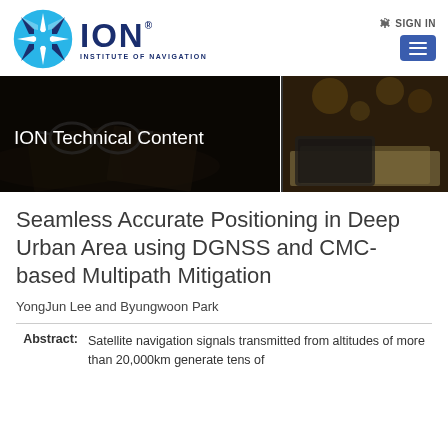[Figure (logo): ION Institute of Navigation logo with circular star/compass emblem and blue ION text]
[Figure (photo): Hero banner with dark overlay showing open books and glasses on the left and papers/tablet on the right, titled ION Technical Content]
Seamless Accurate Positioning in Deep Urban Area using DGNSS and CMC-based Multipath Mitigation
YongJun Lee and Byungwoon Park
Abstract: Satellite navigation signals transmitted from altitudes of more than 20,000km generate tens of